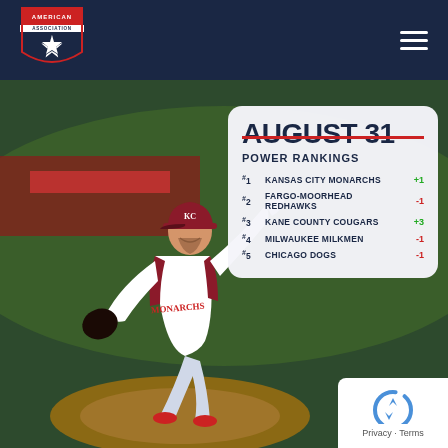[Figure (logo): American Association baseball league logo — navy blue shield with red and white star, text 'AMERICAN ASSOCIATION' around it]
[Figure (photo): Baseball pitcher in Kansas City Monarchs uniform (maroon and white) in mid-throw delivery stance on a baseball mound, outdoor stadium background with green outfield]
AUGUST 31
POWER RANKINGS
#1  KANSAS CITY MONARCHS  +1
#2  FARGO-MOORHEAD REDHAWKS  -1
#3  KANE COUNTY COUGARS  +3
#4  MILWAUKEE MILKMEN  -1
#5  CHICAGO DOGS  -1
Privacy · Terms